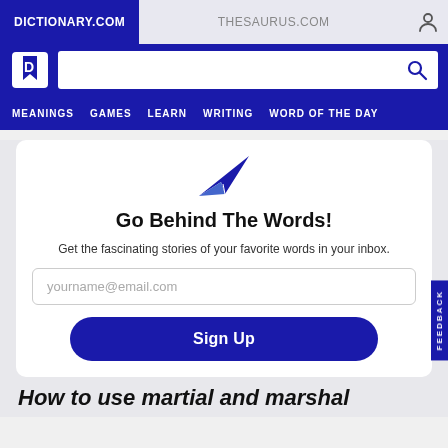DICTIONARY.COM | THESAURUS.COM
[Figure (screenshot): Dictionary.com logo (white D with bookmark shape on blue background)]
Go Behind The Words!
Get the fascinating stories of your favorite words in your inbox.
yourname@email.com
Sign Up
How to use martial and marshal